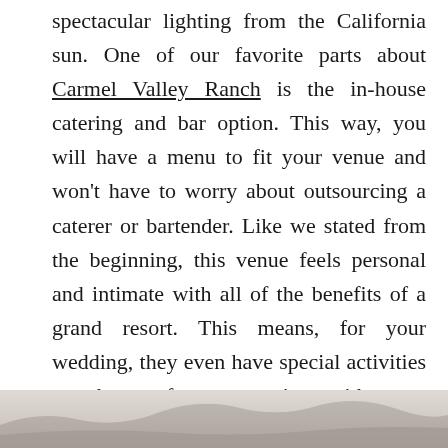spectacular lighting from the California sun. One of our favorite parts about Carmel Valley Ranch is the in-house catering and bar option. This way, you will have a menu to fit your venue and won't have to worry about outsourcing a caterer or bartender. Like we stated from the beginning, this venue feels personal and intimate with all of the benefits of a grand resort. This means, for your wedding, they even have special activities to choose from to enjoy with your wedding party and guests!
[Figure (photo): Faded landscape/scenic photo strip at the bottom of the page, showing a muted outdoor scene]